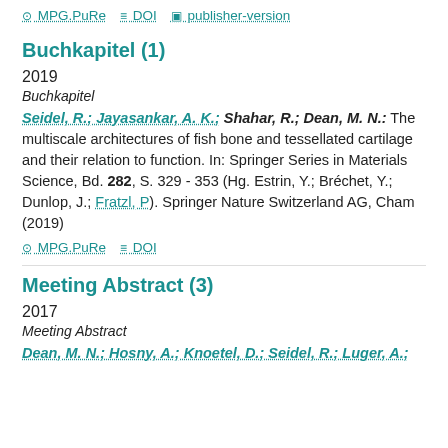MPG.PuRe   DOI   publisher-version
Buchkapitel (1)
2019
Buchkapitel
Seidel, R.; Jayasankar, A. K.; Shahar, R.; Dean, M. N.: The multiscale architectures of fish bone and tessellated cartilage and their relation to function. In: Springer Series in Materials Science, Bd. 282, S. 329 - 353 (Hg. Estrin, Y.; Bréchet, Y.; Dunlop, J.; Fratzl, P). Springer Nature Switzerland AG, Cham (2019)
MPG.PuRe   DOI
Meeting Abstract (3)
2017
Meeting Abstract
Dean, M. N.; Hosny, A.; Knoetel, D.; Seidel, R.; Luger, A.;